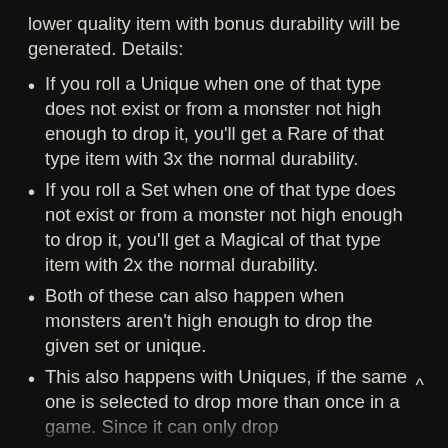lower quality item with bonus durability will be generated. Details:
If you roll a Unique when one of that type does not exist or from a monster not high enough to drop it, you'll get a Rare of that type item with 3x the normal durability.
If you roll a Set when one of that type does not exist or from a monster not high enough to drop it, you'll get a Magical of that type item with 2x the normal durability.
Both of these can also happen when monsters aren't high enough to drop the given set or unique.
This also happens with Uniques, if the same one is selected to drop more than once in a game. Since it can only drop